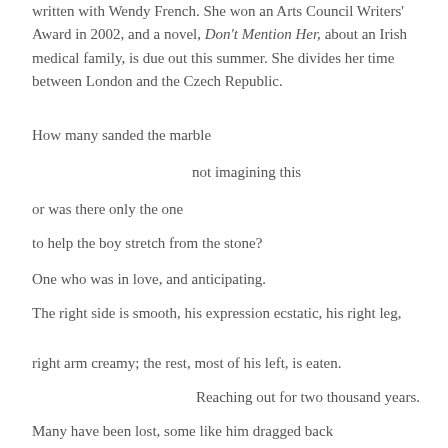written with Wendy French. She won an Arts Council Writers' Award in 2002, and a novel, Don't Mention Her, about an Irish medical family, is due out this summer. She divides her time between London and the Czech Republic.
How many sanded the marble
not imagining this
or was there only the one
to help the boy stretch from the stone?
One who was in love, and anticipating.
The right side is smooth, his expression ecstatic, his right leg,
right arm creamy; the rest, most of his left, is eaten.
Reaching out for two thousand years.
Many have been lost, some like him dragged back